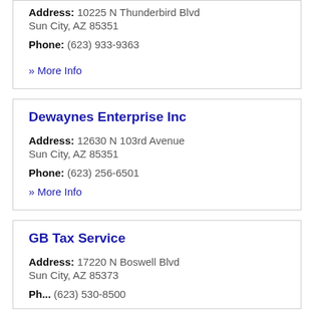Address: 10225 N Thunderbird Blvd Sun City, AZ 85351
Phone: (623) 933-9363
» More Info
Dewaynes Enterprise Inc
Address: 12630 N 103rd Avenue Sun City, AZ 85351
Phone: (623) 256-6501
» More Info
GB Tax Service
Address: 17220 N Boswell Blvd Sun City, AZ 85373
Ph... (623) 530-8500